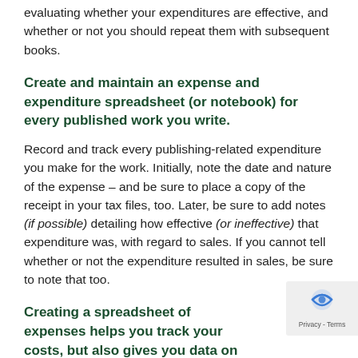evaluating whether your expenditures are effective, and whether or not you should repeat them with subsequent books.
Create and maintain an expense and expenditure spreadsheet (or notebook) for every published work you write.
Record and track every publishing-related expenditure you make for the work. Initially, note the date and nature of the expense – and be sure to place a copy of the receipt in your tax files, too. Later, be sure to add notes (if possible) detailing how effective (or ineffective) that expenditure was, with regard to sales. If you cannot tell whether or not the expenditure resulted in sales, be sure to note that too.
Creating a spreadsheet of expenses helps you track your costs, but also gives you data on which to base future marketing plans and budgets.
For more examples of how successful authors and publishers...